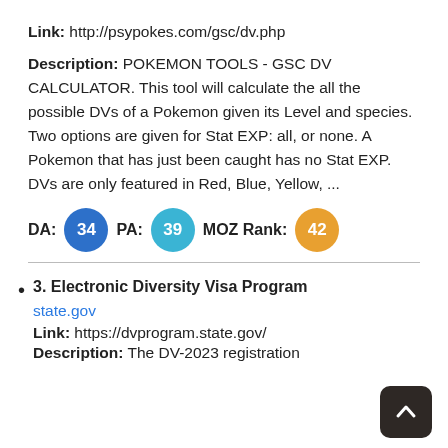Link: http://psypokes.com/gsc/dv.php
Description: POKEMON TOOLS - GSC DV CALCULATOR. This tool will calculate the all the possible DVs of a Pokemon given its Level and species. Two options are given for Stat EXP: all, or none. A Pokemon that has just been caught has no Stat EXP. DVs are only featured in Red, Blue, Yellow, ...
DA: 34 PA: 39 MOZ Rank: 42
3. Electronic Diversity Visa Program
state.gov
Link: https://dvprogram.state.gov/
Description: The DV-2023 registration